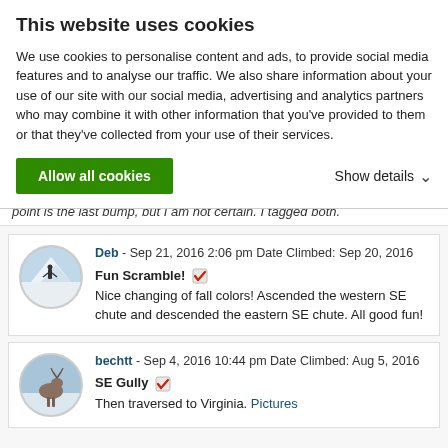This website uses cookies
We use cookies to personalise content and ads, to provide social media features and to analyse our traffic. We also share information about your use of our site with our social media, advertising and analytics partners who may combine it with other information that you've provided to them or that they've collected from your use of their services.
Allow all cookies
Show details
point is the last bump, but I am not certain. I tagged both.
Deb - Sep 21, 2016 2:06 pm Date Climbed: Sep 20, 2016
Fun Scramble!
Nice changing of fall colors! Ascended the western SE chute and descended the eastern SE chute. All good fun!
bechtt - Sep 4, 2016 10:44 pm Date Climbed: Aug 5, 2016
SE Gully
Then traversed to Virginia. Pictures